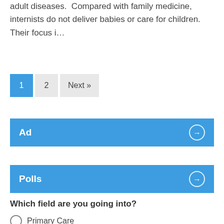adult diseases.  Compared with family medicine, internists do not deliver babies or care for children.  Their focus i…
1
2
Next »
Ad
Polls
Which field are you going into?
Primary Care